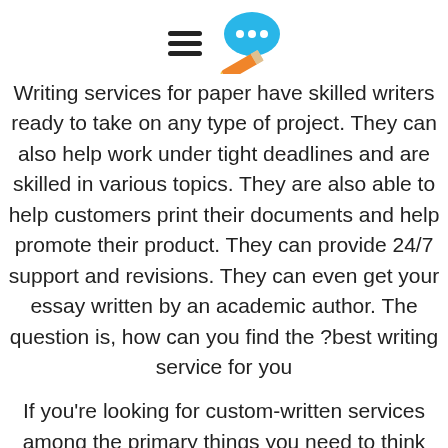[Figure (logo): Hamburger menu icon (three horizontal lines) next to a blue speech bubble with ellipsis and an orange pencil icon below it]
Writing services for paper have skilled writers ready to take on any type of project. They can also help work under tight deadlines and are skilled in various topics. They are also able to help customers print their documents and help promote their product. They can provide 24/7 support and revisions. They can even get your essay written by an academic author. The question is, how can you find the best writing service for you?
If you're looking for custom-written services among the primary things you need to think about is their costs. While most writing services offer top-quality papers but the